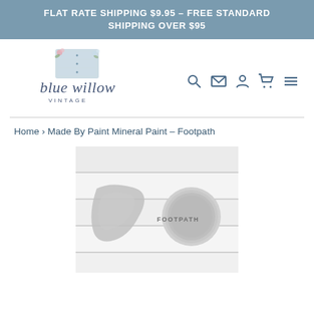FLAT RATE SHIPPING $9.95 – FREE STANDARD SHIPPING OVER $95
[Figure (logo): Blue Willow Vintage logo with watercolor floral illustration of a dresser and script text reading 'blue willow VINTAGE']
Home › Made By Paint Mineral Paint – Footpath
[Figure (photo): Product photo showing a gray paint swatch brushstroke and a small open paint tin lid labeled 'FOOTPATH' on a white wood surface]